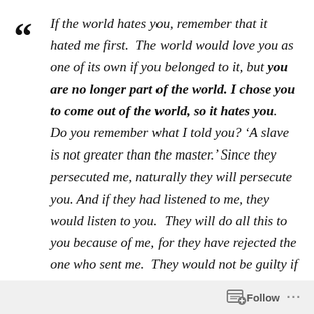If the world hates you, remember that it hated me first. The world would love you as one of its own if you belonged to it, but you are no longer part of the world. I chose you to come out of the world, so it hates you. Do you remember what I told you? 'A slave is not greater than the master.' Since they persecuted me, naturally they will persecute you. And if they had listened to me, they would listen to you. They will do all this to you because of me, for they have rejected the one who sent me. They would not be guilty if I had not come and spoken to them. But now they have no excuse for
Follow ···